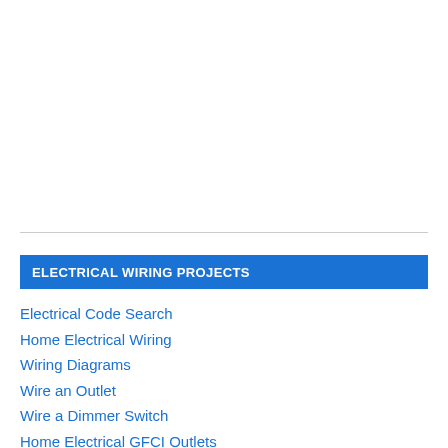ELECTRICAL WIRING PROJECTS
Electrical Code Search
Home Electrical Wiring
Wiring Diagrams
Wire an Outlet
Wire a Dimmer Switch
Home Electrical GFCI Outlets
Wire a Light Fixture
Home Smoke Detectors
Home Electrical Circuit Breakers